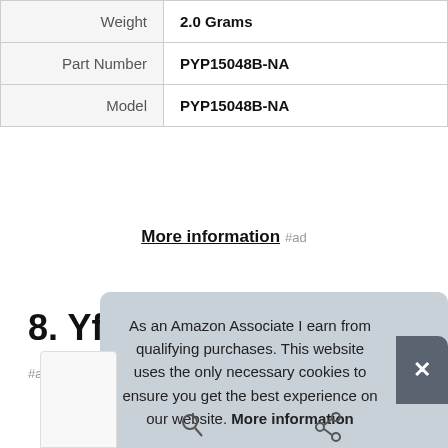| Weight | 2.0 Grams |
| Part Number | PYP15048B-NA |
| Model | PYP15048B-NA |
More information #ad
8. Yfe
#ad
As an Amazon Associate I earn from qualifying purchases. This website uses the only necessary cookies to ensure you get the best experience on our website. More information